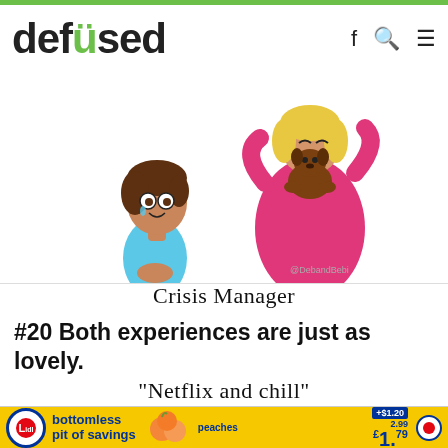defused
[Figure (illustration): Cartoon illustration showing two characters: a girl with tears crying in a blue dress, and another figure in pink holding a brown puppy/dog, with '@DebandBebi' watermark. Caption underneath reads 'Crisis Manager'.]
Crisis Manager
#20 Both experiences are just as lovely.
"Netflix and chill"
[Figure (screenshot): Partial Edge browser bar and Lidl advertisement showing 'bottomless pit of savings' with peaches image and price £1.79 with +£1.20 offer.]